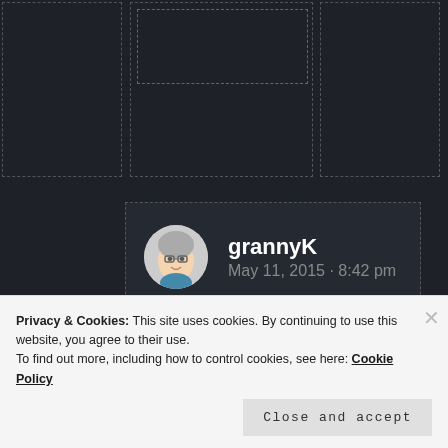[Figure (screenshot): Dark background with dashed placeholder boxes at the top, showing a webpage layout in dark theme]
grannyK
May 11, 2015 · 8:42 pm

Sorry someone was rude, but this is hilarious! Good job!

★ Liked by 2 people
Privacy & Cookies: This site uses cookies. By continuing to use this website, you agree to their use.
To find out more, including how to control cookies, see here: Cookie Policy
Close and accept